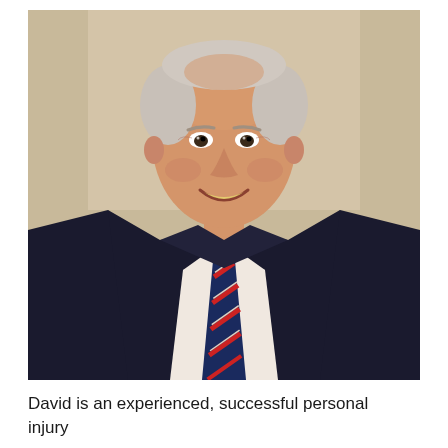[Figure (photo): Professional headshot of an older man with white/grey hair, wearing a dark navy suit jacket, white dress shirt, and a navy and red diagonal striped tie. He is smiling at the camera against a neutral beige/khaki background.]
David is an experienced, successful personal injury